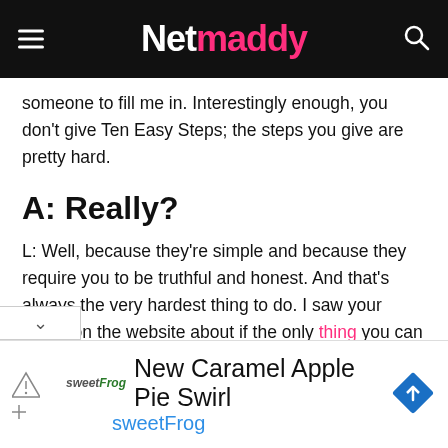Netmaddy
someone to fill me in. Interestingly enough, you don't give Ten Easy Steps; the steps you give are pretty hard.
A: Really?
L: Well, because they're simple and because they require you to be truthful and honest. And that's always the very hardest thing to do. I saw your essay on the website about if the only thing you can do in the morning is getting out of bed. And I read that at a time when I really needed to hear that. Because like a lot of moms, I struggle with depression, and lot of stay-at-home moms. I'm isolated. And my
[Figure (other): Advertisement banner for 'New Caramel Apple Pie Swirl' by sweetFrog, with sweetFrog logo and navigation arrow icon]